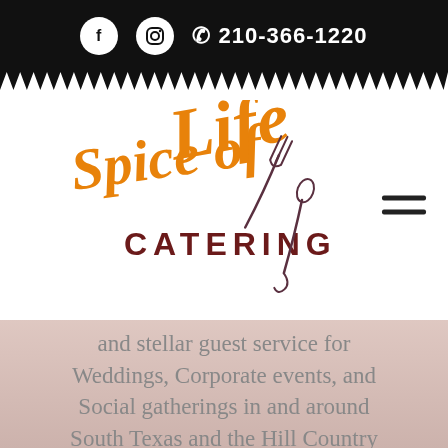f  [instagram icon]  ☎ 210-366-1220
[Figure (logo): Spice of Life Catering logo with orange script text and a fork-spoon illustration]
and stellar guest service for Weddings, Corporate events, and Social gatherings in and around South Texas and the Hill Country